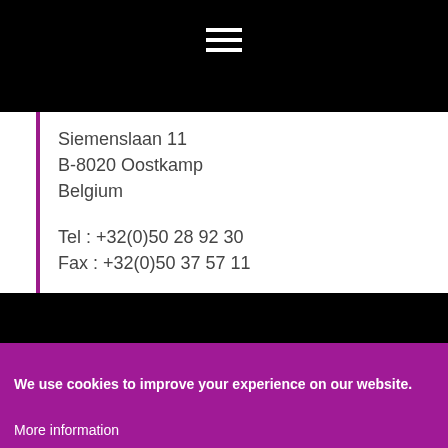[Figure (other): Black header bar with hamburger menu icon (three horizontal white lines)]
Siemenslaan 11
B-8020 Oostkamp
Belgium

Tel : +32(0)50 28 92 30
Fax : +32(0)50 37 57 11

BE 0883.397.311
We use cookies to improve your experience on our website.
More information